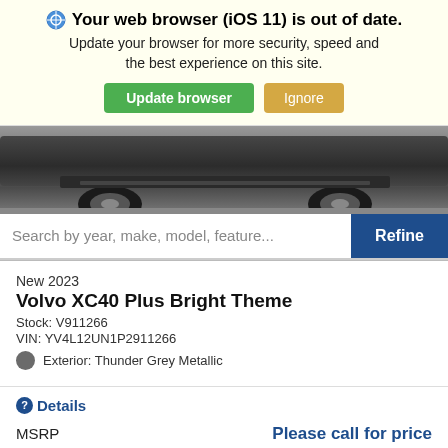Your web browser (iOS 11) is out of date. Update your browser for more security, speed and the best experience on this site. [Update browser] [Ignore]
[Figure (photo): Bottom portion of a dark Volvo SUV showing rear bumper and wheels on a road surface]
Search by year, make, model, feature... [Refine]
New 2023
Volvo XC40 Plus Bright Theme
Stock: V911266
VIN: YV4L12UN1P2911266
Exterior: Thunder Grey Metallic
Details
MSRP    Please call for price